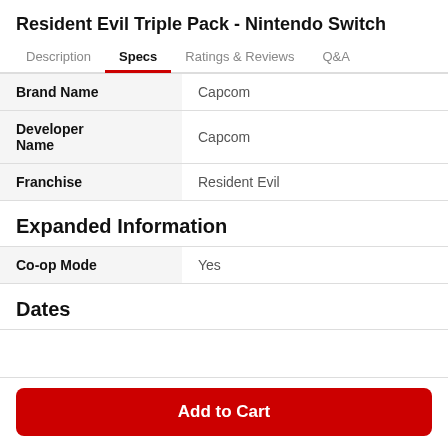Resident Evil Triple Pack - Nintendo Switch
Specs (tab, active)
| Attribute | Value |
| --- | --- |
| Brand Name | Capcom |
| Developer Name | Capcom |
| Franchise | Resident Evil |
Expanded Information
| Attribute | Value |
| --- | --- |
| Co-op Mode | Yes |
Dates
Add to Cart